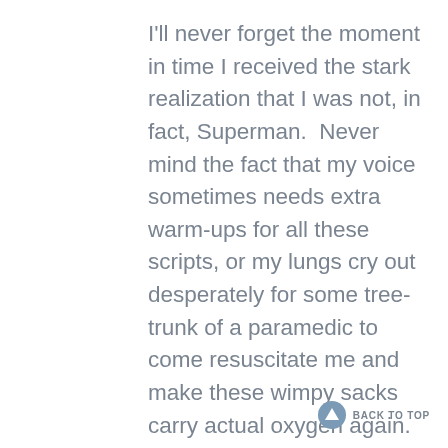I'll never forget the moment in time I received the stark realization that I was not, in fact, Superman.  Never mind the fact that my voice sometimes needs extra warm-ups for all these scripts, or my lungs cry out desperately for some tree-trunk of a paramedic to come resuscitate me and make these wimpy sacks carry actual oxygen again.  I'm talking about when I realized that my body was no longer, in fact, super.  I happened to be wearing a "Superman" T-Shirt and was flying (ok, running fastly with my arms out in front of me) down the halls of our old church, when I